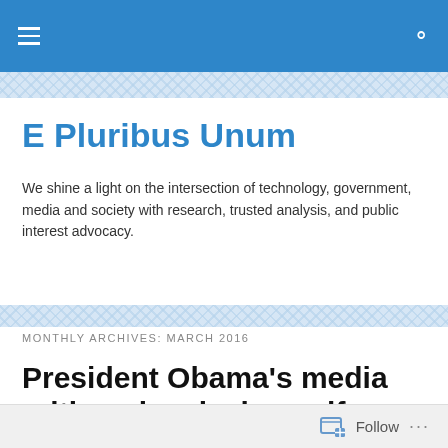E Pluribus Unum — navigation bar
E Pluribus Unum
We shine a light on the intersection of technology, government, media and society with research, trusted analysis, and public interest advocacy.
MONTHLY ARCHIVES: MARCH 2016
President Obama's media critique is missing self-reflection
Follow